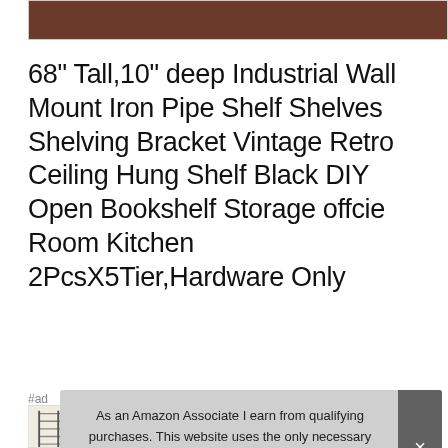[Figure (photo): Top partial view of a wooden shelf product photo with dark brown wood grain background]
68" Tall,10" deep Industrial Wall Mount Iron Pipe Shelf Shelves Shelving Bracket Vintage Retro Ceiling Hung Shelf Black DIY Open Bookshelf Storage offcie Room Kitchen 2PcsX5Tier,Hardware Only
#ad
[Figure (photo): Bottom row of product thumbnail images showing shelf product variants]
As an Amazon Associate I earn from qualifying purchases. This website uses the only necessary cookies to ensure you get the best experience on our website. More information